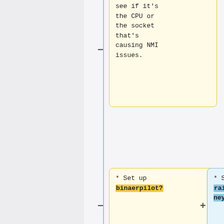[Figure (flowchart): Diff/comparison flowchart with two columns. Left column (yellow cards) and right column (blue cards) connected by a vertical blue line with minus/plus markers. Cards show text items being compared side by side.]
see if it's the CPU or the socket that's causing NMI issues.
* Set up binaerpilot?
* Set up rainbowdragoneys
* Pick up paperclip to install a new OS
* Make sure that the IPMI/console connections are correct, up-to-date,
* Make sure that the console connections are correct, up-to-date,